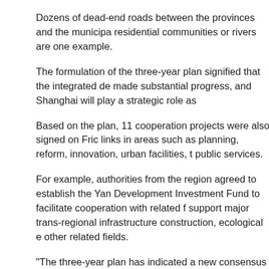Dozens of dead-end roads between the provinces and the municipalities, where roads abruptly end at residential communities or rivers are one example.
The formulation of the three-year plan signified that the integrated development of the Yangtze River Delta has made substantial progress, and Shanghai will play a strategic role as the core city.
Based on the plan, 11 cooperation projects were also signed on Friday to strengthen links in areas such as planning, reform, innovation, urban facilities, transportation and public services.
For example, authorities from the region agreed to establish the Yangtze River Delta Development Investment Fund to facilitate cooperation with related fields and support major trans-regional infrastructure construction, ecological environment and other related fields.
"The three-year plan has indicated a new consensus and clarified new goals for the development of the region, based on which we are committed to the common goal and support one another to make the vision we've jointly painted a reality," Li said.